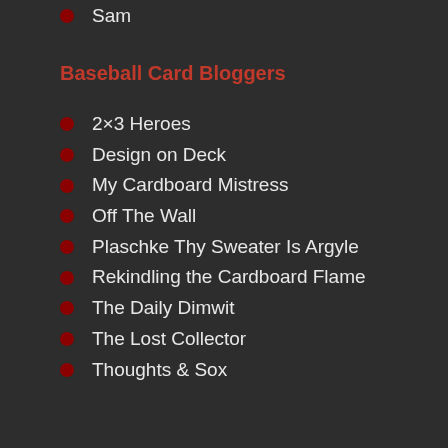Sam
Baseball Card Bloggers
2×3 Heroes
Design on Deck
My Cardboard Mistress
Off The Wall
Plaschke Thy Sweater Is Argyle
Rekindling the Cardboard Flame
The Daily Dimwit
The Lost Collector
Thoughts & Sox